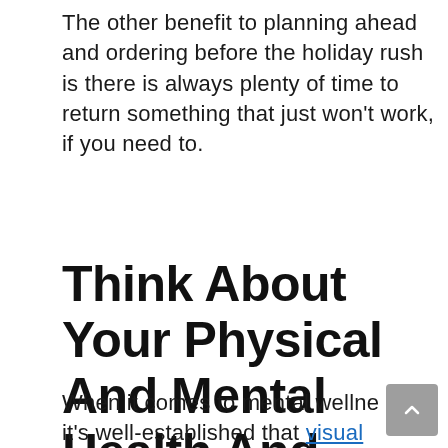The other benefit to planning ahead and ordering before the holiday rush is there is always plenty of time to return something that just won't work, if you need to.
Think About Your Physical And Mental Health And Wellness
When it comes to mental wellness, it's well-established that visual